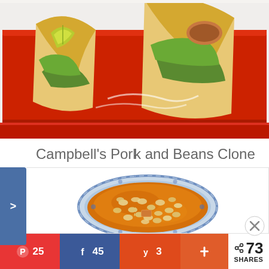[Figure (photo): Tacos on a red plate with lime and lettuce]
Campbell's Pork and Beans Clone
[Figure (photo): Bowl of pork and beans in orange sauce in a blue and white floral bowl]
Advertisements
25  45  3  +  < 73 SHARES